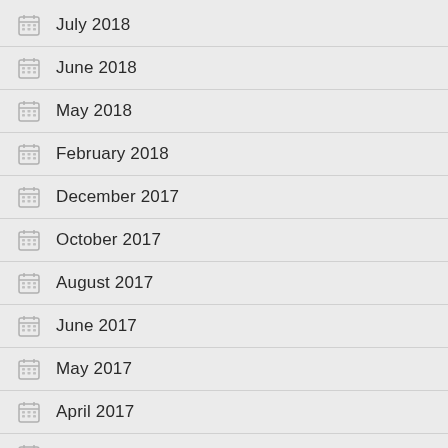July 2018
June 2018
May 2018
February 2018
December 2017
October 2017
August 2017
June 2017
May 2017
April 2017
March 2017